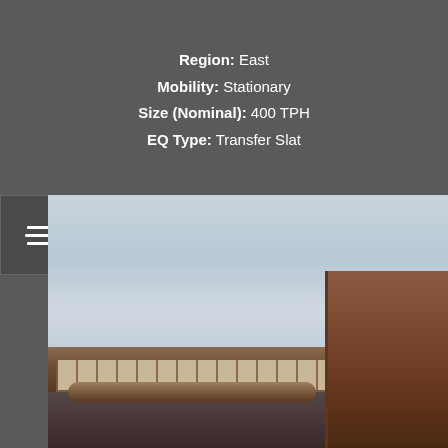Region: East
Mobility: Stationary
Size (Nominal): 400 TPH
EQ Type: Transfer Slat
[Figure (photo): Outdoor photograph of a stationary transfer slat conveyor (400 TPH) on a cloudy day. The conveyor unit is a long horizontal structure with segmented panels, visible rust and industrial wear, with a large pile or structure on the right side. Overcast sky in background, trees visible on the horizon.]